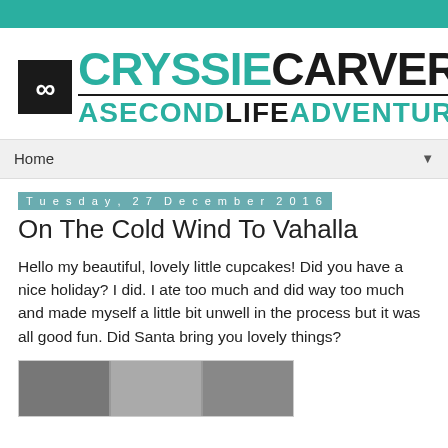[Figure (logo): Cryssie Carver - A Second Life Adventure blog logo with teal infinity icon, teal and black text]
Home
Tuesday, 27 December 2016
On The Cold Wind To Vahalla
Hello my beautiful, lovely little cupcakes! Did you have a nice holiday? I did. I ate too much and did way too much and made myself a little bit unwell in the process but it was all good fun. Did Santa bring you lovely things?
[Figure (photo): Partial photo strip visible at bottom of page]